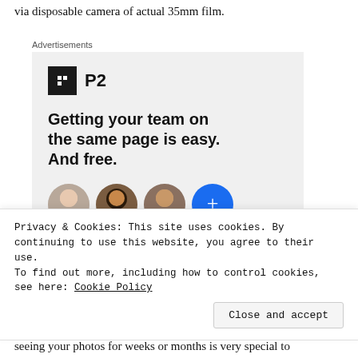via disposable camera of actual 35mm film.
Advertisements
[Figure (screenshot): Advertisement for P2 app showing logo, bold headline 'Getting your team on the same page is easy. And free.' and three profile photo avatars plus a blue plus button.]
Privacy & Cookies: This site uses cookies. By continuing to use this website, you agree to their use.
To find out more, including how to control cookies, see here: Cookie Policy
seeing your photos for weeks or months is very special to